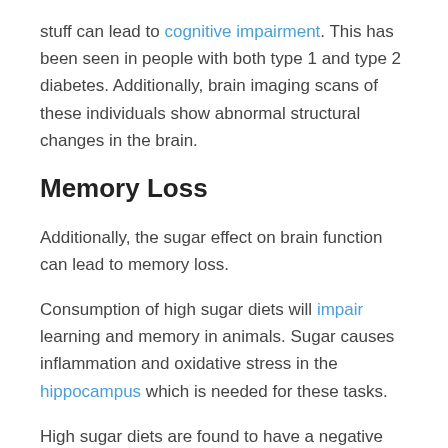stuff can lead to cognitive impairment. This has been seen in people with both type 1 and type 2 diabetes. Additionally, brain imaging scans of these individuals show abnormal structural changes in the brain.
Memory Loss
Additionally, the sugar effect on brain function can lead to memory loss.
Consumption of high sugar diets will impair learning and memory in animals. Sugar causes inflammation and oxidative stress in the hippocampus which is needed for these tasks.
High sugar diets are found to have a negative...